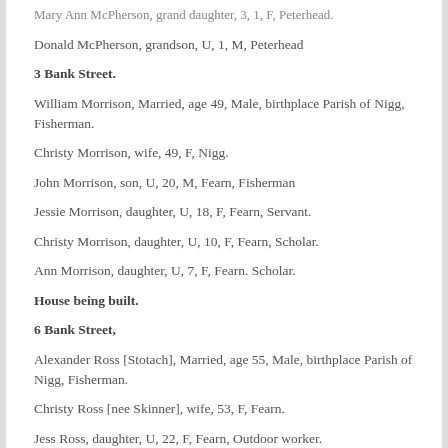Mary Ann McPherson, grand daughter, 3, 1, F, Peterhead.
Donald McPherson, grandson, U, 1, M, Peterhead
3 Bank Street.
William Morrison, Married, age 49, Male, birthplace Parish of Nigg, Fisherman.
Christy Morrison, wife, 49, F, Nigg.
John Morrison, son, U, 20, M, Fearn, Fisherman
Jessie Morrison, daughter, U, 18, F, Fearn, Servant.
Christy Morrison, daughter, U, 10, F, Fearn, Scholar.
Ann Morrison, daughter, U, 7, F, Fearn. Scholar.
House being built.
6 Bank Street,
Alexander Ross [Stotach], Married, age 55, Male, birthplace Parish of Nigg, Fisherman.
Christy Ross [nee Skinner], wife, 53, F, Fearn.
Jess Ross, daughter, U, 22, F, Fearn, Outdoor worker.
James Ross, son, U, 14, M, Fearn, Scholar.